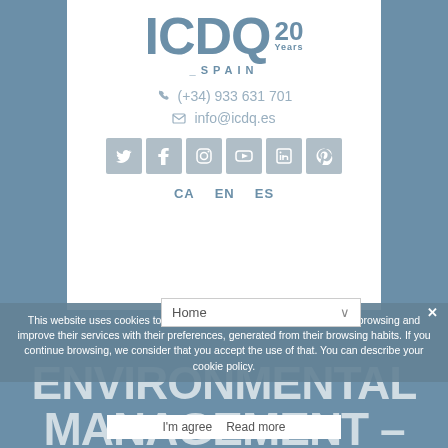[Figure (logo): ICDQ 20 Years Spain logo with phone icon (+34) 933 631 701, email info@icdq.es, social media icons (Twitter, Facebook, Instagram, YouTube, LinkedIn, Pinterest), and language selectors CA EN ES]
This website uses cookies to collect statistical information about users' browsing and improve their services with their preferences, generated from their browsing habits. If you continue browsing, we consider that you accept the use of that. You can describe your cookie policy.
I'm agree  Read more
ENVIRONMENTAL MANAGEMENT –